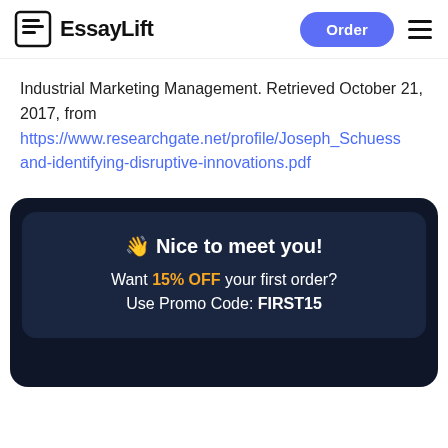EssayLift
Industrial Marketing Management. Retrieved October 21, 2017, from https://www.researchgate.net/profile/Joseph_Schuess and-identifying-disruptive-innovations.pdf
[Figure (infographic): Promotional banner with dark background showing a waving hand emoji and text: Nice to meet you! Want 15% OFF your first order? Use Promo Code: FIRST15]